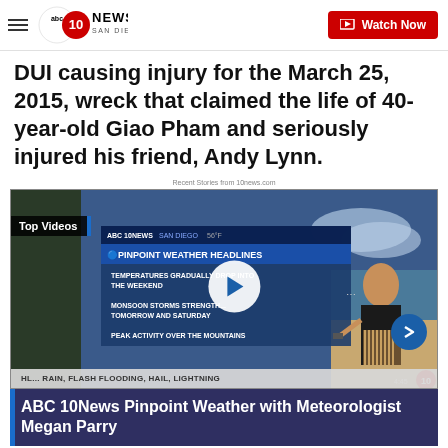ABC 10News San Diego — Watch Now
DUI causing injury for the March 25, 2015, wreck that claimed the life of 40-year-old Giao Pham and seriously injured his friend, Andy Lynn.
Recent Stories from 10news.com
[Figure (screenshot): Video thumbnail showing ABC 10News Pinpoint Weather Headlines with a female meteorologist, weather text overlays, play button, and 'Top Videos' badge]
ABC 10News Pinpoint Weather with Meteorologist Megan Parry